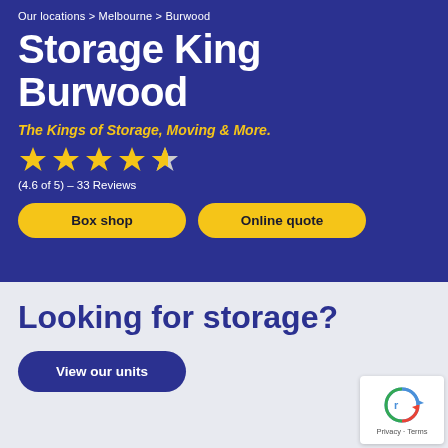Our locations > Melbourne > Burwood
Storage King Burwood
The Kings of Storage, Moving & More.
[Figure (infographic): 4.5 out of 5 star rating shown as yellow stars]
(4.6 of 5) – 33 Reviews
Box shop | Online quote
Looking for storage?
View our units